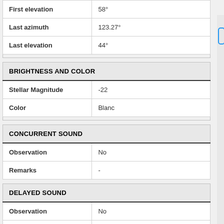|  |  |
| --- | --- |
| First elevation | 58° |
| Last azimuth | 123.27° |
| Last elevation | 44° |
| BRIGHTNESS AND COLOR |  |
| --- | --- |
| Stellar Magnitude | -22 |
| Color | Blanc |
| CONCURRENT SOUND |  |
| --- | --- |
| Observation | No |
| Remarks | - |
| DELAYED SOUND |  |
| --- | --- |
| Observation | No |
| Remarks | - |